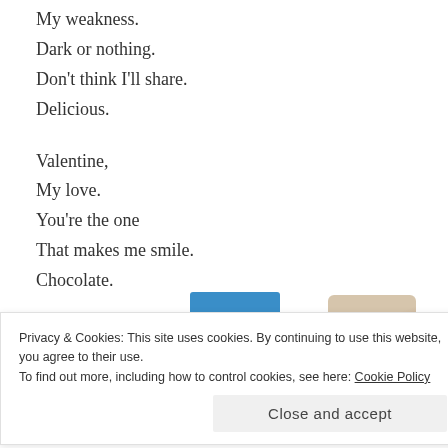My weakness.
Dark or nothing.
Don't think I'll share.
Delicious.
Valentine,
My love.
You're the one
That makes me smile.
Chocolate.
[Figure (photo): Partial view of a person wearing a beige/tan shirt, cropped at bottom of page]
Privacy & Cookies: This site uses cookies. By continuing to use this website, you agree to their use.
To find out more, including how to control cookies, see here: Cookie Policy
Close and accept